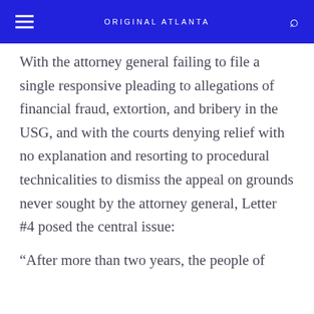ORIGINAL ATLANTA
With the attorney general failing to file a single responsive pleading to allegations of financial fraud, extortion, and bribery in the USG, and with the courts denying relief with no explanation and resorting to procedural technicalities to dismiss the appeal on grounds never sought by the attorney general, Letter #4 posed the central issue:
“After more than two years, the people of